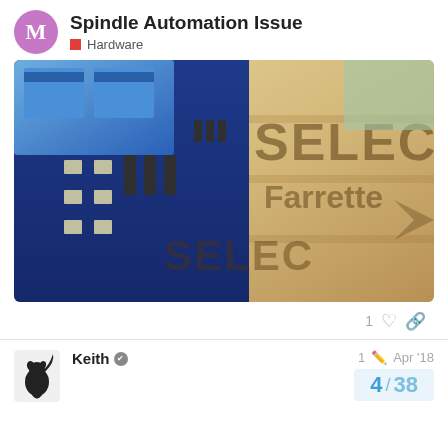Spindle Automation Issue — Hardware
[Figure (photo): Close-up photo of a blue relay board/PCB placed on top of wooden boards laser-engraved with 'SELECT Farrette' text]
1
Keith  1  Apr '18
4 / 38